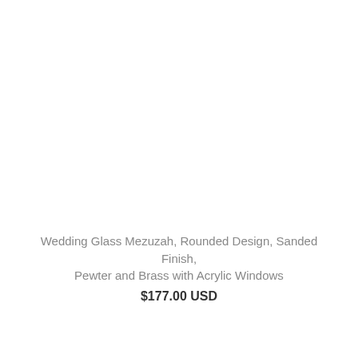[Figure (photo): Product image area (blank/white — image not loaded)]
Wedding Glass Mezuzah, Rounded Design, Sanded Finish, Pewter and Brass with Acrylic Windows
$177.00 USD